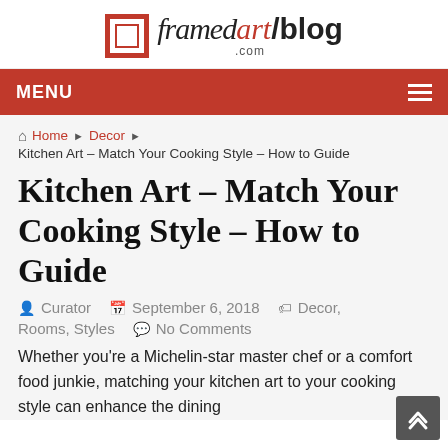[Figure (logo): framedart/blog .com logo with red square frame icon]
MENU
Home › Decor › Kitchen Art – Match Your Cooking Style – How to Guide
Kitchen Art – Match Your Cooking Style – How to Guide
Curator  September 6, 2018  Decor, Rooms, Styles  No Comments
Whether you're a Michelin-star master chef or a comfort food junkie, matching your kitchen art to your cooking style can enhance the dining